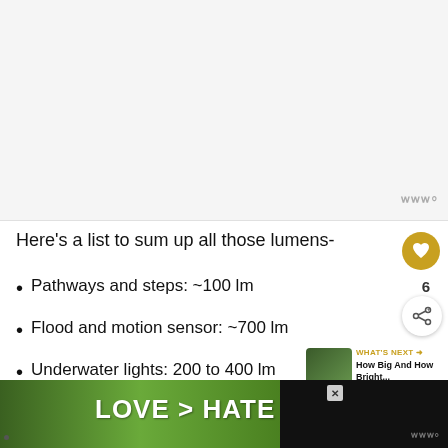[Figure (photo): Placeholder image area — light gray background representing an image that was displayed above the article content]
Here's a list to sum up all those lumens-
Pathways and steps: ~100 lm
Flood and motion sensor: ~700 lm
Underwater lights: 200 to 400 lm
[Figure (photo): Advertisement banner at bottom: green background with hands making a heart shape, text reads LOVE > HATE]